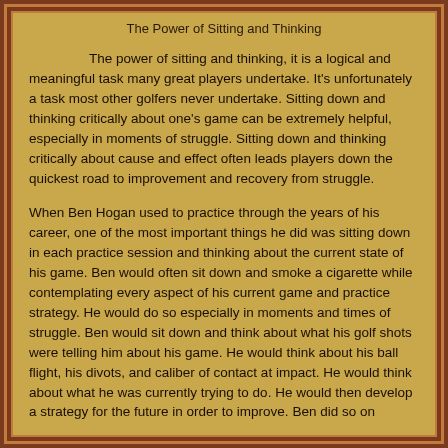The Power of Sitting and Thinking
The power of sitting and thinking, it is a logical and meaningful task many great players undertake.  It's unfortunately a task most other golfers never undertake.  Sitting down and thinking critically about one's game can be extremely helpful, especially in moments of struggle.  Sitting down and thinking critically about cause and effect often leads players down the quickest road to improvement and recovery from struggle.
When Ben Hogan used to practice through the years of his career, one of the most important things he did was sitting down in each practice session and thinking about the current state of his game.  Ben would often sit down and smoke a cigarette while contemplating every aspect of his current game and practice strategy.  He would do so especially in moments and times of struggle.  Ben would sit down and think about what his golf shots were telling him about his game.  He would think about his ball flight, his divots, and caliber of contact at impact.  He would think about what he was currently trying to do.  He would then develop a strategy for the future in order to improve.  Ben did so on countless